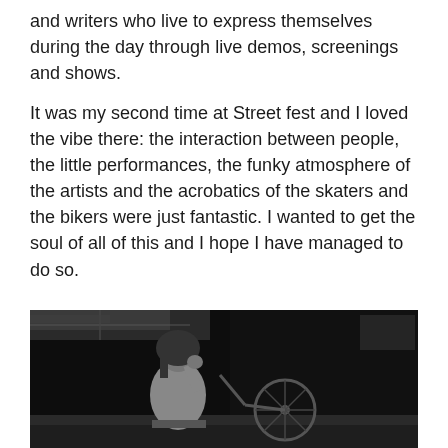and writers who live to express themselves during the day through live demos, screenings and shows.
It was my second time at Street fest and I loved the vibe there: the interaction between people, the little performances, the funky atmosphere of the artists and the acrobatics of the skaters and the bikers were just fantastic. I wanted to get the soul of all of this and I hope I have managed to do so.
[Figure (photo): Black and white photograph of a shirtless man with long hair standing next to a bicycle in an outdoor setting, likely at a street festival. The image is dark with high contrast.]